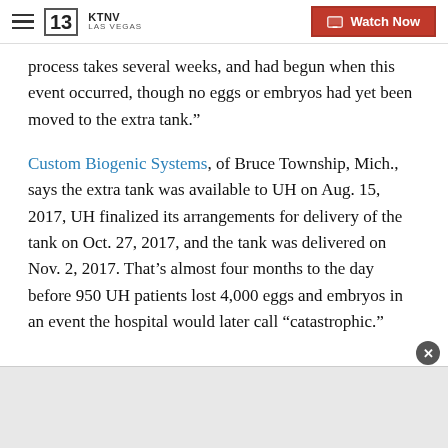KTNV LAS VEGAS | Watch Now
process takes several weeks, and had begun when this event occurred, though no eggs or embryos had yet been moved to the extra tank.”
Custom Biogenic Systems, of Bruce Township, Mich., says the extra tank was available to UH on Aug. 15, 2017, UH finalized its arrangements for delivery of the tank on Oct. 27, 2017, and the tank was delivered on Nov. 2, 2017. That’s almost four months to the day before 950 UH patients lost 4,000 eggs and embryos in an event the hospital would later call “catastrophic.”